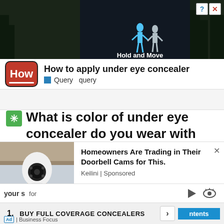[Figure (screenshot): Top advertisement banner showing a dark game-like scene with score display (+20, K3) and two figures, with text 'Hold and Move' and close/help buttons]
How to apply under eye concealer — How | Query  query
✳ What is color of under eye concealer do you wear with grey
A yellow foundation concealer will correct most of the darkness under the eyes. Yellow comes in contact with blue/purple, so avoid everything else. Anything too light turns the thin skin under the eyes gray. UAV blah. You don't want that
[Figure (photo): Advertisement showing a hand holding a light-bulb shaped security camera, with text 'Homeowners Are Trading in Their Doorbell Cams for This.' and attribution 'Keilini | Sponsored']
your s... for
1. BUY FULL COVERAGE CONCEALERS
Ad | Business Focus